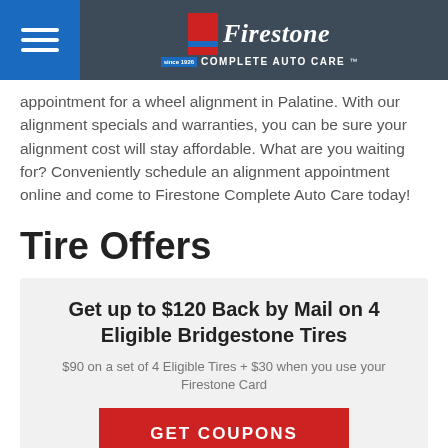Firestone Complete Auto Care
appointment for a wheel alignment in Palatine. With our alignment specials and warranties, you can be sure your alignment cost will stay affordable. What are you waiting for? Conveniently schedule an alignment appointment online and come to Firestone Complete Auto Care today!
Tire Offers
Get up to $120 Back by Mail on 4 Eligible Bridgestone Tires
$90 on a set of 4 Eligible Tires + $30 when you use your Firestone Card
GET COUPONS